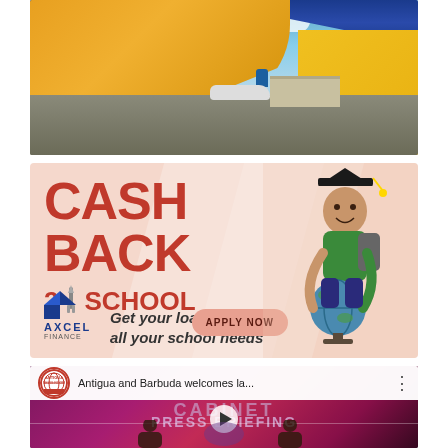[Figure (photo): Airplane tarmac scene showing colorful aircraft wings (orange, blue, yellow) in foreground with smaller planes and airport building in background under cloudy sky]
[Figure (illustration): Axcel Finance advertisement: 'CASH BACK 2 SCHOOL - Get your loan for all your school needs' with APPLY NOW button, Axcel Finance logo, and image of child in graduation cap holding globe]
[Figure (screenshot): Video thumbnail from Antigua News Room showing 'Antigua and Barbuda welcomes la...' title, Cabinet Press Briefing background with people seated at table]